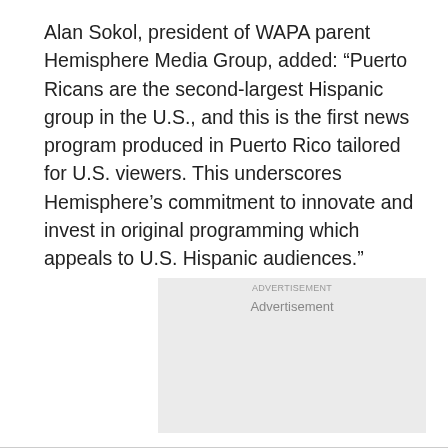Alan Sokol, president of WAPA parent Hemisphere Media Group, added: “Puerto Ricans are the second-largest Hispanic group in the U.S., and this is the first news program produced in Puerto Rico tailored for U.S. viewers. This underscores Hemisphere’s commitment to innovate and invest in original programming which appeals to U.S. Hispanic audiences."
[Figure (other): Advertisement placeholder box with light gray background and the label 'Advertisement' centered near the top]